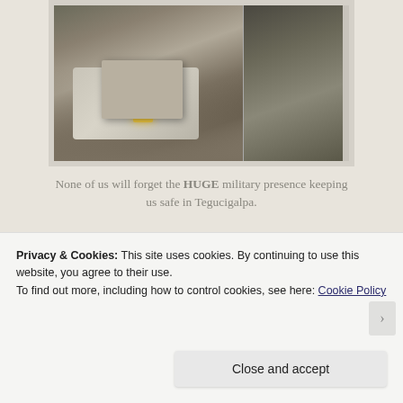[Figure (photo): Military pickup truck with armed soldiers in the truck bed, driving on a city street. Split photo showing two angles of the convoy.]
None of us will forget the HUGE military presence keeping us safe in Tegucigalpa.
[Figure (photo): Blurry indoor photo showing a ceiling and a metal pole or column, possibly in an airport or public building.]
Privacy & Cookies: This site uses cookies. By continuing to use this website, you agree to their use.
To find out more, including how to control cookies, see here: Cookie Policy
Close and accept